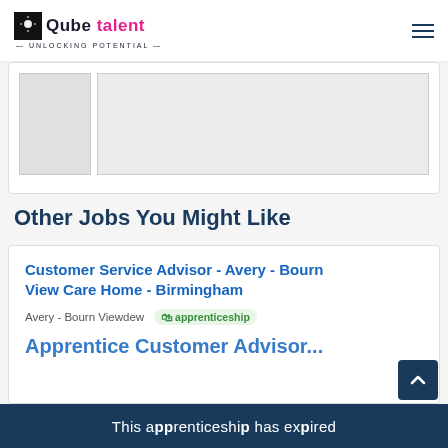Qube talent — UNLOCKING POTENTIAL —
[Figure (other): Partially visible job listing card with gray placeholder boxes]
Other Jobs You Might Like
Customer Service Advisor - Avery - Bourn View Care Home - Birmingham
Avery - Bourn Viewdew  apprenticeship
This apprenticeship has expired